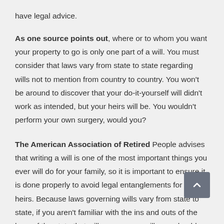have legal advice.
As one source points out, where or to whom you want your property to go is only one part of a will. You must consider that laws vary from state to state regarding wills not to mention from country to country. You won't be around to discover that your do-it-yourself will didn't work as intended, but your heirs will be. You wouldn't perform your own surgery, would you?
The American Association of Retired People advises that writing a will is one of the most important things you ever will do for your family, so it is important to ensure it is done properly to avoid legal entanglements for your heirs. Because laws governing wills vary from state to state, if you aren't familiar with the ins and outs of the laws of the state that will govern your will, you should